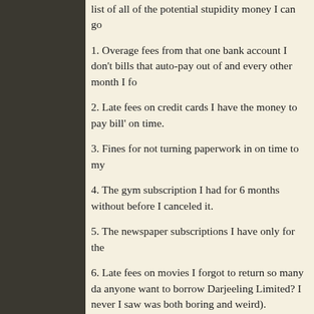list of all of the potential stupidity money I can go
1. Overage fees from that one bank account I don't bills that auto-pay out of and every other month I fo
2. Late fees on credit cards I have the money to pay bill' on time.
3. Fines for not turning paperwork in on time to my
4. The gym subscription I had for 6 months without before I canceled it.
5. The newspaper subscriptions I have only for the
6. Late fees on movies I forgot to return so many da anyone want to borrow Darjeeling Limited? I never I saw was both boring and weird).
7. The jeans I bought at Target last week that neithe
8. Padded costs for signing up for events or lessons